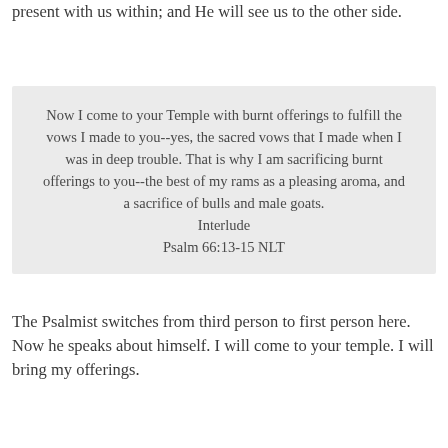present with us within; and He will see us to the other side.
Now I come to your Temple with burnt offerings to fulfill the vows I made to you--yes, the sacred vows that I made when I was in deep trouble. That is why I am sacrificing burnt offerings to you--the best of my rams as a pleasing aroma, and a sacrifice of bulls and male goats. Interlude
Psalm 66:13-15 NLT
The Psalmist switches from third person to first person here. Now he speaks about himself. I will come to your temple. I will bring my offerings.